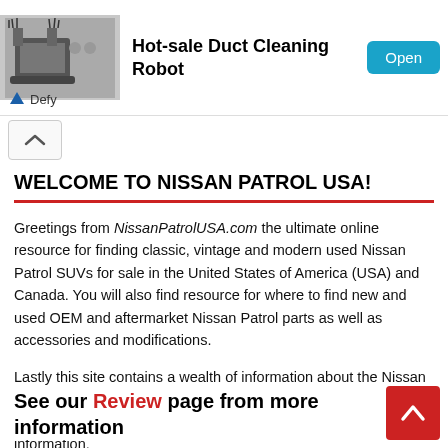[Figure (screenshot): Advertisement banner for Hot-sale Duct Cleaning Robot with product image, Open button, and Defy brand logo]
WELCOME TO NISSAN PATROL USA!
Greetings from NissanPatrolUSA.com the ultimate online resource for finding classic, vintage and modern used Nissan Patrol SUVs for sale in the United States of America (USA) and Canada. You will also find resource for where to find new and used OEM and aftermarket Nissan Patrol parts as well as accessories and modifications.
Lastly this site contains a wealth of information about the Nissan Patrol 4X4 SUV as well as contains many useful links to other websites containing relevant material, spec data and technical information.
See our Review page from more information